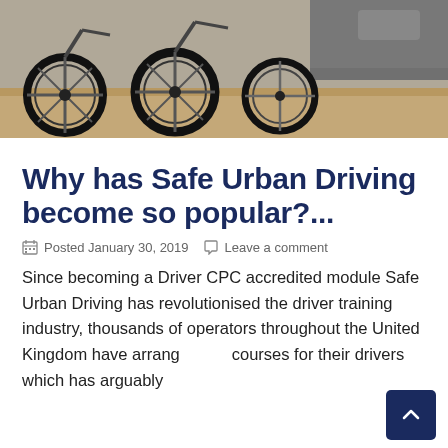[Figure (photo): Photo of bicycles and a car bumper on a gravel surface, viewed from behind]
Why has Safe Urban Driving become so popular?...
Posted January 30, 2019   Leave a comment
Since becoming a Driver CPC accredited module Safe Urban Driving has revolutionised the driver training industry, thousands of operators throughout the United Kingdom have arranged courses for their drivers which has arguably